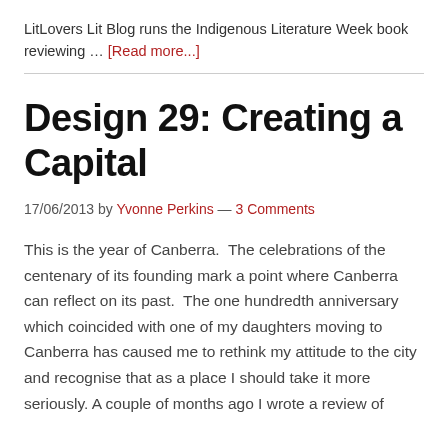LitLovers Lit Blog runs the Indigenous Literature Week book reviewing … [Read more...]
Design 29: Creating a Capital
17/06/2013 by Yvonne Perkins — 3 Comments
This is the year of Canberra.  The celebrations of the centenary of its founding mark a point where Canberra can reflect on its past.  The one hundredth anniversary which coincided with one of my daughters moving to Canberra has caused me to rethink my attitude to the city and recognise that as a place I should take it more seriously. A couple of months ago I wrote a review of